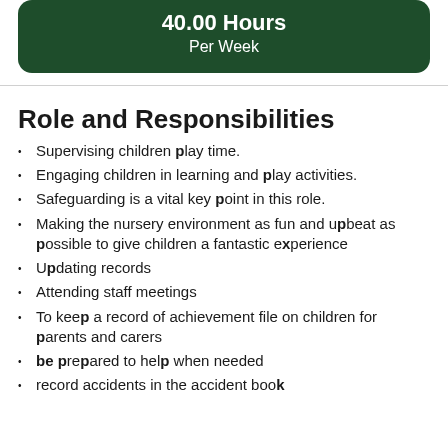40.00 Hours
Per Week
Role and Responsibilities
Supervising children play time.
Engaging children in learning and play activities.
Safeguarding is a vital key point in this role.
Making the nursery environment as fun and upbeat as possible to give children a fantastic experience
Updating records
Attending staff meetings
To keep a record of achievement file on children for parents and carers
be prepared to help when needed
record accidents in the accident book